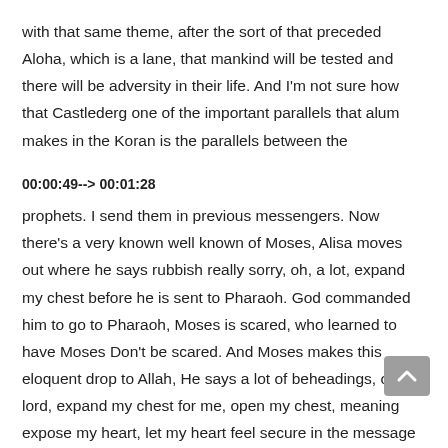with that same theme, after the sort of that preceded Aloha, which is a lane, that mankind will be tested and there will be adversity in their life. And I'm not sure how that Castlederg one of the important parallels that alum makes in the Koran is the parallels between the
00:00:49--> 00:01:28
prophets. I send them in previous messengers. Now there's a very known well known of Moses, Alisa moves out where he says rubbish really sorry, oh, a lot, expand my chest before he is sent to Pharaoh. God commanded him to go to Pharaoh, Moses is scared, who learned to have Moses Don't be scared. And Moses makes this eloquent drop to Allah, He says a lot of beheadings, oh my lord, expand my chest for me, open my chest, meaning expose my heart, let my heart feel secure in the message you've given me. Let my heart be exposed to the one